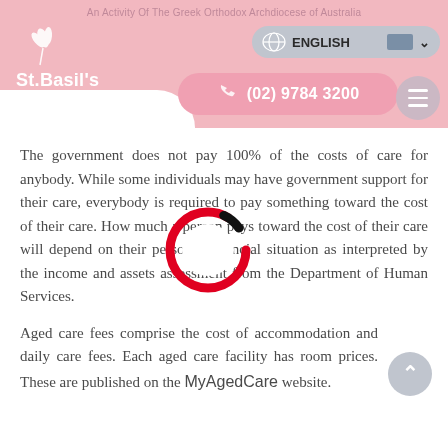An Activity Of The Greek Orthodox Archdiocese of Australia
[Figure (logo): St. Basil's logo with wheat/leaf icon and white text on pink background]
The government does not pay 100% of the costs of care for anybody. While some individuals may have government support for their care, everybody is required to pay something toward the cost of their care. How much a person pays toward the cost of their care will depend on their personal financial situation as interpreted by the income and assets assessment from the Department of Human Services.
Aged care fees comprise the cost of accommodation and daily care fees. Each aged care facility has room prices. These are published on the MyAgedCare website.